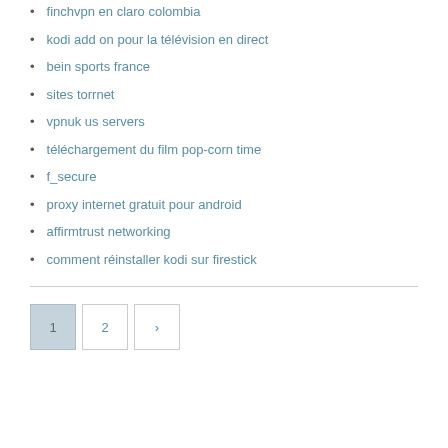finchvpn en claro colombia
kodi add on pour la télévision en direct
bein sports france
sites torrnet
vpnuk us servers
téléchargement du film pop-corn time
f_secure
proxy internet gratuit pour android
affirmtrust networking
comment réinstaller kodi sur firestick
1  2  >